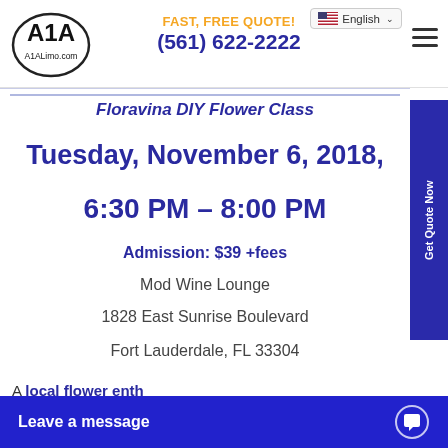[Figure (logo): A1A Limo logo with oval border, text A1A and A1ALimo.com]
FAST, FREE QUOTE!
(561) 622-2222
English
Floravina DIY Flower Class
Tuesday, November 6, 2018,
6:30 PM – 8:00 PM
Admission: $39 +fees
Mod Wine Lounge
1828 East Sunrise Boulevard
Fort Lauderdale, FL 33304
A local flower enthu...
Leave a message